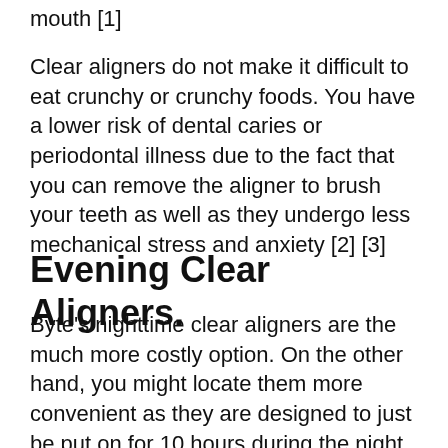mouth [1]
Clear aligners do not make it difficult to eat crunchy or crunchy foods. You have a lower risk of dental caries or periodontal illness due to the fact that you can remove the aligner to brush your teeth as well as they undergo less mechanical stress and anxiety [2] [3]
Evening Clear Aligners.
Byte's nighttime clear aligners are the much more costly option. On the other hand, you might locate them more convenient as they are designed to just be put on for 10 hours during the night, mainly while you're